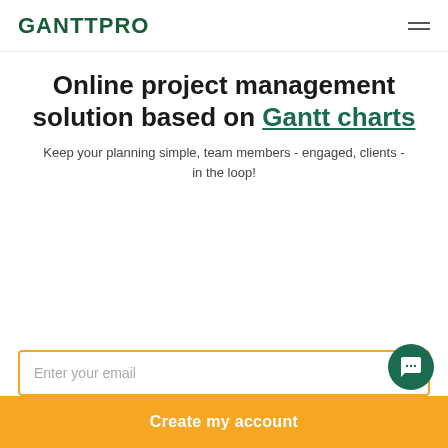GANTTPRO
Online project management solution based on Gantt charts
Keep your planning simple, team members - engaged, clients - in the loop!
[Figure (screenshot): Email input field with placeholder text 'Enter your email' and orange border]
[Figure (screenshot): Orange 'Create my account' call-to-action button]
[Figure (other): Teal circular chat bubble icon in bottom right corner]